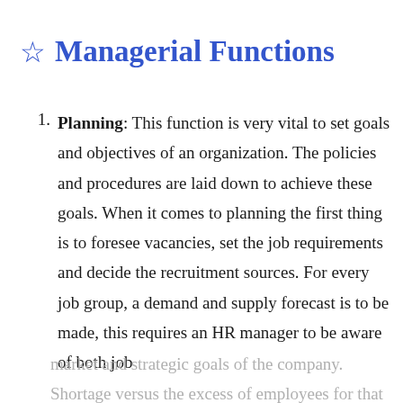☆ Managerial Functions
Planning: This function is very vital to set goals and objectives of an organization. The policies and procedures are laid down to achieve these goals. When it comes to planning the first thing is to foresee vacancies, set the job requirements and decide the recruitment sources. For every job group, a demand and supply forecast is to be made, this requires an HR manager to be aware of both job market and strategic goals of the company. Shortage versus the excess of employees for that given job